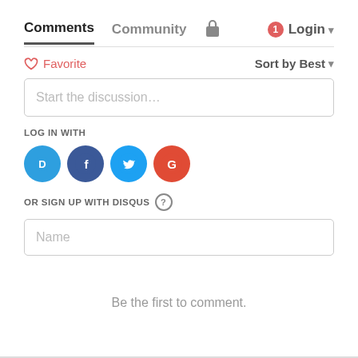Comments  Community  [lock icon]  [1] Login
♡ Favorite    Sort by Best ▾
Start the discussion…
LOG IN WITH
[Figure (other): Four social login icons: Disqus (blue), Facebook (dark blue), Twitter (light blue), Google (red)]
OR SIGN UP WITH DISQUS ?
Name
Be the first to comment.